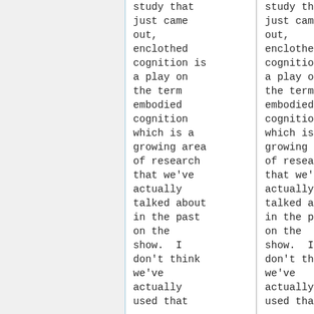study that just came out, enclothed cognition is a play on the term embodied cognition which is a growing area of research that we've actually talked about in the past on the show.  I don't think we've actually used that
study that just came out, enclothed cognition is a play on the term embodied cognition which is a growing area of research that we've actually talked about in the past on the show.  I don't think we've actually used that